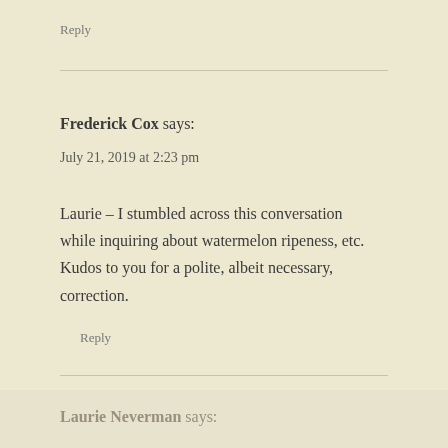Reply
Frederick Cox says:
July 21, 2019 at 2:23 pm
Laurie – I stumbled across this conversation while inquiring about watermelon ripeness, etc. Kudos to you for a polite, albeit necessary, correction.
Reply
Laurie Neverman says: